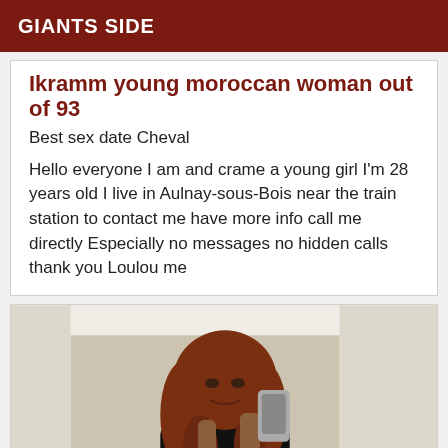GIANTS SIDE
Ikramm young moroccan woman out of 93
Best sex date Cheval
Hello everyone I am and crame a young girl I'm 28 years old I live in Aulnay-sous-Bois near the train station to contact me have more info call me directly Especially no messages no hidden calls thank you Loulou me
[Figure (photo): Young woman with long curly auburn hair taking a mirror selfie with a smartphone, wearing a black outfit, standing in front of a white door.]